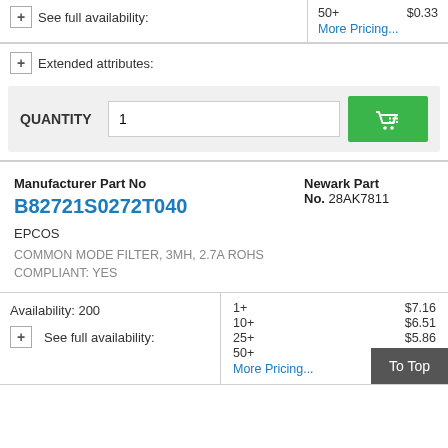See full availability:
50+   $0.33
More Pricing...
Extended attributes:
QUANTITY  1
Manufacturer Part No
B82721S0272T040
Newark Part No. 28AK7811
EPCOS
COMMON MODE FILTER, 3MH, 2.7A ROHS COMPLIANT: YES
Availability: 200
See full availability:
| Qty | Price |
| --- | --- |
| 1+ | $7.16 |
| 10+ | $6.51 |
| 25+ | $5.86 |
| 50+ | $5.15 |
More Pricing...
To Top